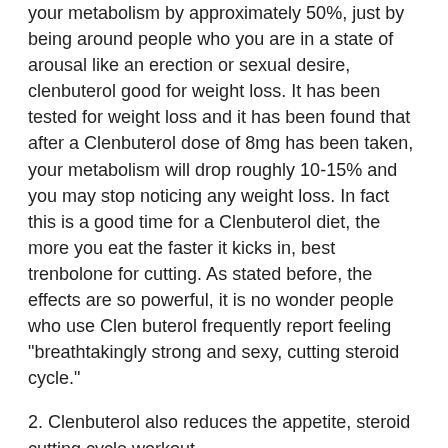your metabolism by approximately 50%, just by being around people who you are in a state of arousal like an erection or sexual desire, clenbuterol good for weight loss. It has been tested for weight loss and it has been found that after a Clenbuterol dose of 8mg has been taken, your metabolism will drop roughly 10-15% and you may stop noticing any weight loss. In fact this is a good time for a Clenbuterol diet, the more you eat the faster it kicks in, best trenbolone for cutting. As stated before, the effects are so powerful, it is no wonder people who use Clen buterol frequently report feeling "breathtakingly strong and sexy, cutting steroid cycle."
2. Clenbuterol also reduces the appetite, steroid cutting cycle workout.
One of the most exciting claims of Clenbuterol is that it will completely control